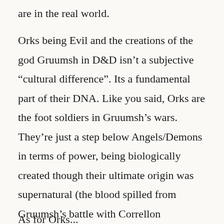are in the real world.
Orks being Evil and the creations of the god Gruumsh in D&D isn’t a subjective “cultural difference”. Its a fundamental part of their DNA. Like you said, Orks are the foot soldiers in Gruumsh’s wars. They’re just a step below Angels/Demons in terms of power, being biologically created though their ultimate origin was supernatural (the blood spilled from Gruumsh’s battle with Correllon Larethian).
As for Orks...